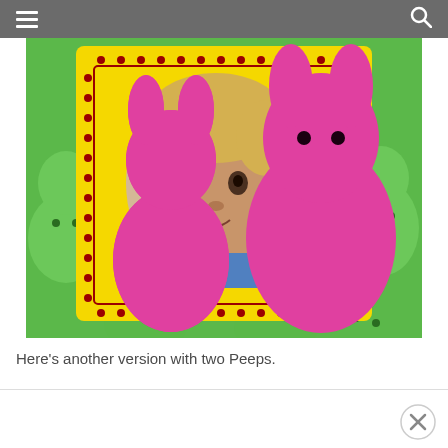[Figure (photo): A photo showing a yellow Peeps-branded card with a circular photo of a young toddler with curly blonde hair. Two large pink bunny-shaped Peeps marshmallows are placed on the card, surrounded by green Peeps marshmallows in the background.]
Here's another version with two Peeps.